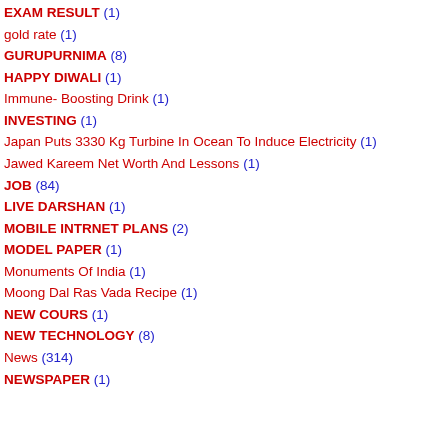EXAM RESULT (1)
gold rate (1)
GURUPURNIMA (8)
HAPPY DIWALI (1)
Immune- Boosting Drink (1)
INVESTING (1)
Japan Puts 3330 Kg Turbine In Ocean To Induce Electricity (1)
Jawed Kareem Net Worth And Lessons (1)
JOB (84)
LIVE DARSHAN (1)
MOBILE INTRNET PLANS (2)
MODEL PAPER (1)
Monuments Of India (1)
Moong Dal Ras Vada Recipe (1)
NEW COURS (1)
NEW TECHNOLOGY (8)
News (314)
NEWSPAPER (1)